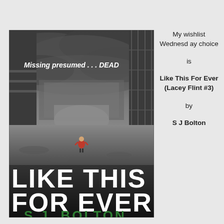[Figure (illustration): Book cover of 'Like This For Ever' by S J Bolton (Lacey Flint #3). Dark, gritty scene of an industrial urban alley with stormy skies. A lone child in a red jacket stands in the middle of a desolate street. Large distressed white text reads 'LIKE THIS FOR EVER' at the bottom. Tagline 'Missing presumed . . . DEAD' in white text near the top. Author name 'S.J. BOLTON' partially visible at very bottom.]
My wishlist Wednesday choice
is
Like This For Ever (Lacey Flint #3)
by
S J Bolton